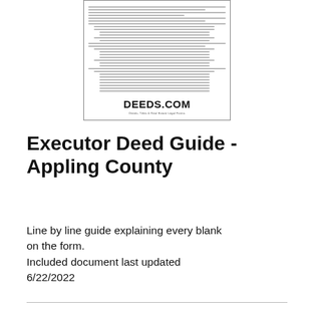[Figure (other): Thumbnail image of a document page with small text lines and the DEEDS.COM logo at the bottom, shown inside a rectangular border.]
Executor Deed Guide - Appling County
Line by line guide explaining every blank on the form.
Included document last updated 6/22/2022